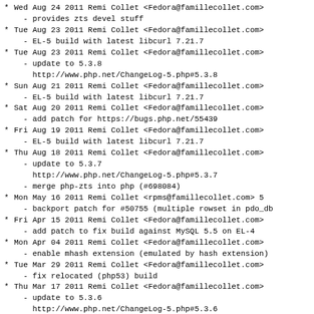Wed Aug 24 2011 Remi Collet <Fedora@famillecollet.com>
  - provides zts devel stuff
Tue Aug 23 2011 Remi Collet <Fedora@famillecollet.com>
  - EL-5 build with latest libcurl 7.21.7
Tue Aug 23 2011 Remi Collet <Fedora@famillecollet.com>
  - update to 5.3.8
    http://www.php.net/ChangeLog-5.php#5.3.8
Sun Aug 21 2011 Remi Collet <Fedora@famillecollet.com>
  - EL-5 build with latest libcurl 7.21.7
Sat Aug 20 2011 Remi Collet <Fedora@famillecollet.com>
  - add patch for https://bugs.php.net/55439
Fri Aug 19 2011 Remi Collet <Fedora@famillecollet.com>
  - EL-5 build with latest libcurl 7.21.7
Thu Aug 18 2011 Remi Collet <Fedora@famillecollet.com>
  - update to 5.3.7
    http://www.php.net/ChangeLog-5.php#5.3.7
  - merge php-zts into php (#698084)
Mon May 16 2011 Remi Collet <rpms@famillecollet.com> 5
  - backport patch for #50755 (multiple rowset in pdo_db
Fri Apr 15 2011 Remi Collet <Fedora@famillecollet.com>
  - add patch to fix build against MySQL 5.5 on EL-4
Mon Apr 04 2011 Remi Collet <Fedora@famillecollet.com>
  - enable mhash extension (emulated by hash extension)
Tue Mar 29 2011 Remi Collet <Fedora@famillecollet.com>
  - fix relocated (php53) build
Thu Mar 17 2011 Remi Collet <Fedora@famillecollet.com>
  - update to 5.3.6
    http://www.php.net/ChangeLog-5.php#5.3.6
Tue Mar 15 2011 Joe Orton <jorton@redhat.com> - 5.3.5-6
  - disable zip extension per "No Bundled libraries" pol